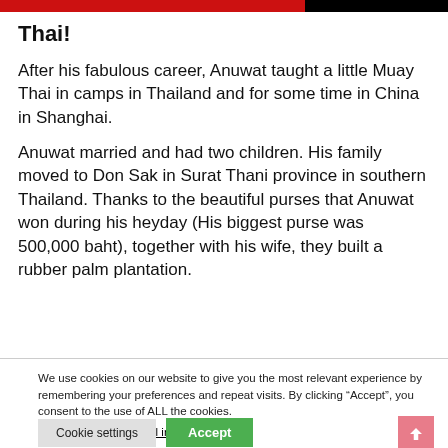Thai!
After his fabulous career, Anuwat taught a little Muay Thai in camps in Thailand and for some time in China in Shanghai.
Anuwat married and had two children. His family moved to Don Sak in Surat Thani province in southern Thailand. Thanks to the beautiful purses that Anuwat won during his heyday (His biggest purse was 500,000 baht), together with his wife, they built a rubber palm plantation.
We use cookies on our website to give you the most relevant experience by remembering your preferences and repeat visits. By clicking “Accept”, you consent to the use of ALL the cookies.
Do not sell my personal information.